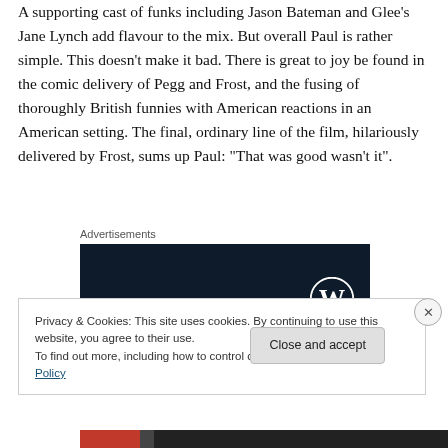A supporting cast of funks including Jason Bateman and Glee's Jane Lynch add flavour to the mix. But overall Paul is rather simple. This doesn't make it bad. There is great to joy be found in the comic delivery of Pegg and Frost, and the fusing of thoroughly British funnies with American reactions in an American setting. The final, ordinary line of the film, hilariously delivered by Frost, sums up Paul: "That was good wasn't it".
Advertisements
[Figure (logo): Dark navy advertisement box with WordPress logo (W in circle) on right side]
Privacy & Cookies: This site uses cookies. By continuing to use this website, you agree to their use.
To find out more, including how to control cookies, see here: Cookie Policy
Close and accept